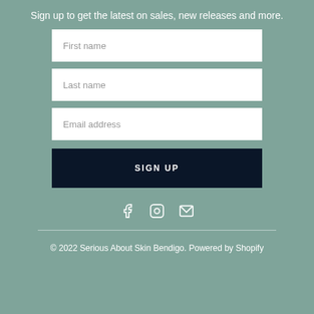Sign up to get the latest on sales, new releases and more.
First name
Last name
Email address
SIGN UP
[Figure (illustration): Social media icons: Facebook, Instagram, Email]
© 2022 Serious About Skin Bendigo. Powered by Shopify